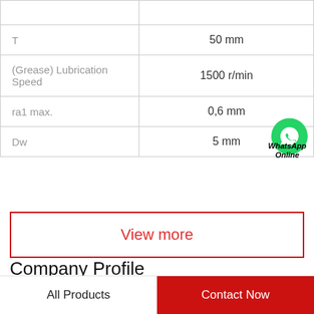| Parameter | Value |
| --- | --- |
|  |  |
| T | 50 mm |
| (Grease) Lubrication Speed | 1500 r/min |
| ra1 max. | 0,6 mm |
| Dw | 5 mm |
View more
Company Profile
Shanghai Shengjie Bearing Co., Ltd.
All Products | Contact Now